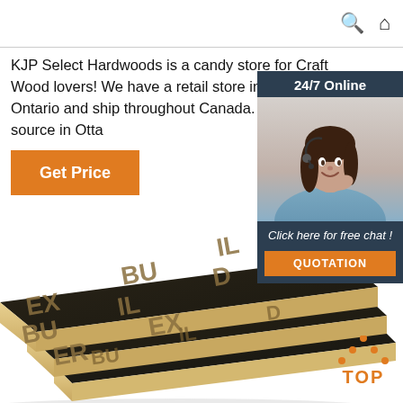🔍 🏠
KJP Select Hardwoods is a candy store for Craft Wood lovers! We have a retail store in Ottawa, Ontario and ship throughout Canada. Your wood source in Otta…
Get Price
[Figure (photo): Chat widget with 24/7 Online header, photo of woman with headset smiling, 'Click here for free chat!' text, and QUOTATION orange button]
[Figure (photo): Stacked dark plywood sheets with BUILDEREX pattern branding on surface, showing wood laminate layers on edges]
[Figure (other): TOP navigation arrow icon in orange with orange TOP text]